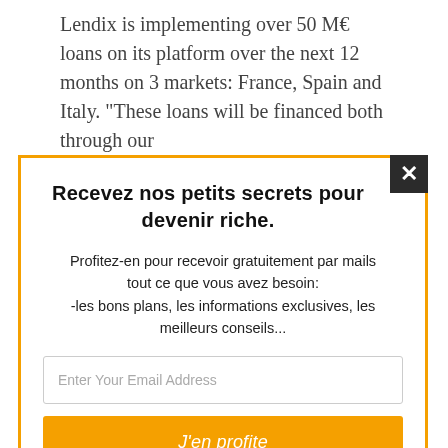Lendix is implementing over 50 M€ loans on its platform over the next 12 months on 3 markets: France, Spain and Italy. "These loans will be financed both through our
Recevez nos petits secrets pour devenir riche.
Profitez-en pour recevoir gratuitement par mails tout ce que vous avez besoin: -les bons plans, les informations exclusives, les meilleurs conseils...
Enter Your Email Address
J'en profite